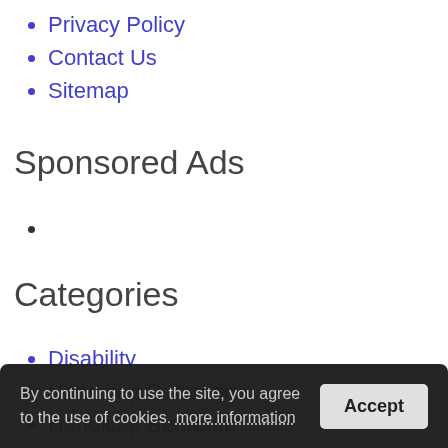Privacy Policy
Contact Us
Sitemap
Sponsored Ads
Categories
Disability
Handicap Bathroom
Handicap Bedroom
Handicap Equipment
Handicap...
Handi...
Handicapped Cars
Lifts
Scooters
By continuing to use the site, you agree to the use of cookies. more information
Accept